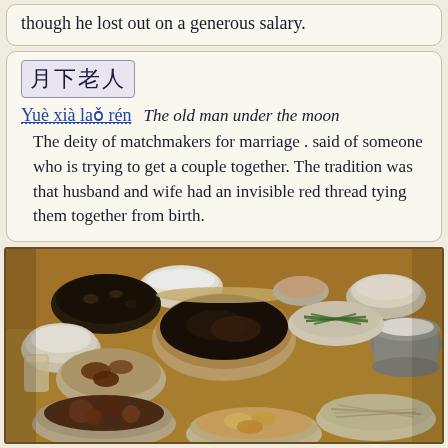though he lost out on a generous salary.
月下老人 Yuè xià laǒ rén — The old man under the moon. The deity of matchmakers for marriage . said of someone who is trying to get a couple together. The tradition was that husband and wife had an invisible red thread tying them together from birth.
[Figure (photo): A wooden table covered with multiple Chinese dishes including rice, braised meats, vegetables, stir-fried dishes in bowls and plates arranged for a family meal.]